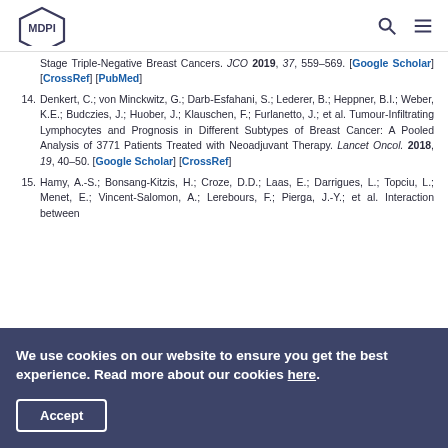MDPI
Stage Triple-Negative Breast Cancers. JCO 2019, 37, 559–569. [Google Scholar] [CrossRef] [PubMed]
14. Denkert, C.; von Minckwitz, G.; Darb-Esfahani, S.; Lederer, B.; Heppner, B.I.; Weber, K.E.; Budczies, J.; Huober, J.; Klauschen, F.; Furlanetto, J.; et al. Tumour-Infiltrating Lymphocytes and Prognosis in Different Subtypes of Breast Cancer: A Pooled Analysis of 3771 Patients Treated with Neoadjuvant Therapy. Lancet Oncol. 2018, 19, 40–50. [Google Scholar] [CrossRef]
15. Hamy, A.-S.; Bonsang-Kitzis, H.; Croze, D.D.; Laas, E.; Darrigues, L.; Topciu, L.; Menet, E.; Vincent-Salomon, A.; Lerebours, F.; Pierga, J.-Y.; et al. Interaction between
We use cookies on our website to ensure you get the best experience. Read more about our cookies here.
Accept